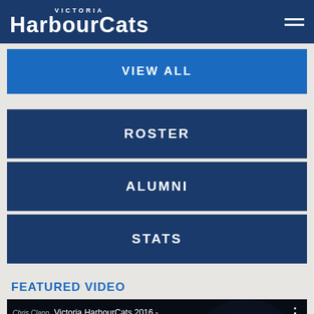Victoria HarbourCats
VIEW ALL
ROSTER
ALUMNI
STATS
FEATURED VIDEO
[Figure (screenshot): YouTube video thumbnail showing Victoria HarbourCats 2016 video with a baseball player in blue uniform and a YouTube play button overlay]